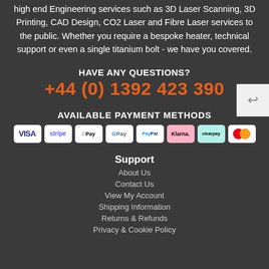high end Engineering services such as 3D Laser Scanning, 3D Printing, CAD Design, CO2 Laser and Fibre Laser services to the public. Whether you require a bespoke heater, technical support or even a single titanium bolt - we have you covered.
HAVE ANY QUESTIONS?
+44 (0) 1392 423 390
AVAILABLE PAYMENT METHODS
[Figure (infographic): Payment method icons: VISA, stripe, Apple Pay, Google Pay, PayPal, Klarna, clearpay, Mastercard]
Support
About Us
Contact Us
View My Account
Shipping Information
Returns & Refunds
Privacy & Cookie Policy